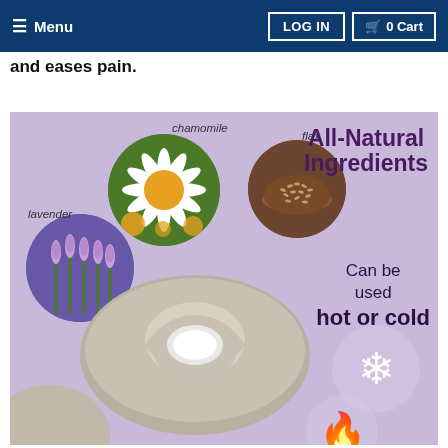Menu | LOG IN | 0 Cart
and eases pain.
[Figure (infographic): Infographic showing all-natural ingredients (chamomile, flax, lavender) with circular photos and a neck wrap product. Text reads: All-Natural Ingredients. Can be used hot or cold. Snowflake and flame icons shown on purple/lavender background.]